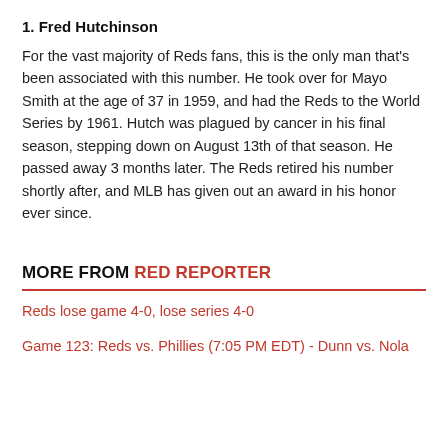1. Fred Hutchinson
For the vast majority of Reds fans, this is the only man that's been associated with this number. He took over for Mayo Smith at the age of 37 in 1959, and had the Reds to the World Series by 1961. Hutch was plagued by cancer in his final season, stepping down on August 13th of that season. He passed away 3 months later. The Reds retired his number shortly after, and MLB has given out an award in his honor ever since.
MORE FROM RED REPORTER
Reds lose game 4-0, lose series 4-0
Game 123: Reds vs. Phillies (7:05 PM EDT) - Dunn vs. Nola